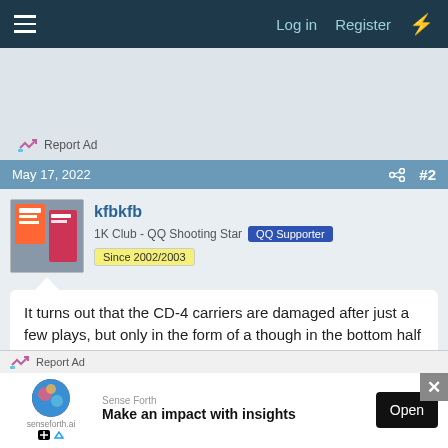Log in  Register
[Figure (other): Advertisement area with Report Ad link]
Report Ad
May 17, 2022   #2
kfbkfb
1K Club - QQ Shooting Star  QQ Supporter  Since 2002/2003
It turns out that the CD-4 carriers are damaged after just a few plays, but only in the form of a though in the bottom half of the groove, a true Shibata will contact some of the upper (undamaged) half of the groove and retrieve the
Report Ad
Sense Forth
Make an impact with insights
Open